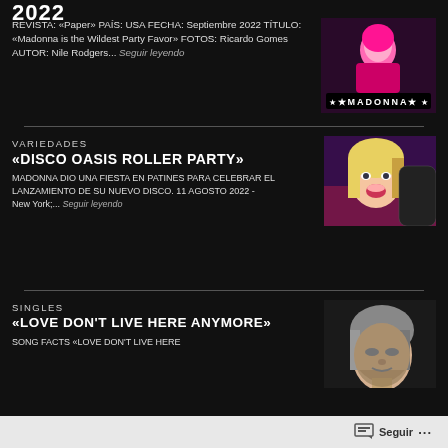2022
REVISTA: «Paper» PAÍS: USA FECHA: Septiembre 2022 TÍTULO: «Madonna is the Wildest Party Favor» FOTOS: Ricardo Gomes AUTOR: Nile Rodgers... Seguir leyendo
[Figure (photo): Madonna magazine cover photo, colorful, crouching pose with MADONNA text]
VARIEDADES
«DISCO OASIS ROLLER PARTY»
MADONNA DIO UNA FIESTA EN PATINES PARA CELEBRAR EL LANZAMIENTO DE SU NUEVO DISCO. 11 AGOSTO 2022 - New York;... Seguir leyendo
[Figure (photo): Madonna with blonde hair, open mouth, colorful background]
SINGLES
«LOVE DON'T LIVE HERE ANYMORE»
SONG FACTS «Love Don't Live Here
[Figure (photo): Black and white portrait of Madonna looking upward]
Seguir